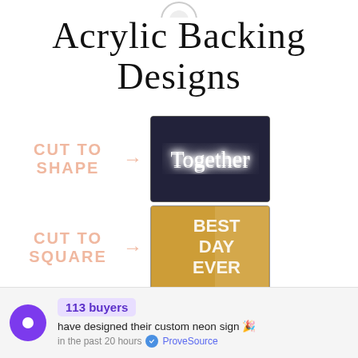[Figure (logo): Partial circular logo at top center]
Acrylic Backing Designs
[Figure (infographic): Two rows showing 'CUT TO SHAPE' with arrow pointing to neon sign photo of 'Together', and 'CUT TO SQUARE' with arrow pointing to gold acrylic 'BEST DAY EVER' sign photo]
113 buyers have designed their custom neon sign 🎉 in the past 20 hours ✅ ProveSource